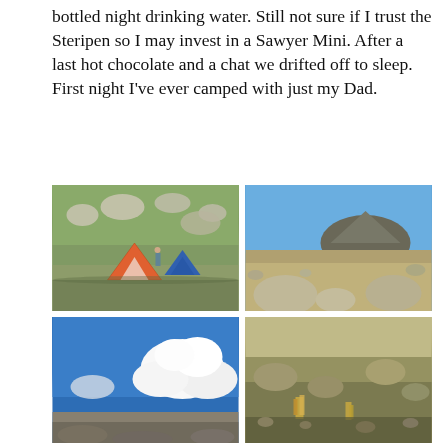bottled night drinking water. Still not sure if I trust the Steripen so I may invest in a Sawyer Mini. After a last hot chocolate and a chat we drifted off to sleep. First night I've ever camped with just my Dad.
[Figure (photo): Two tents (orange/white and blue) pitched on a rocky moorland with scattered boulders and green-brown grassy terrain]
[Figure (photo): Rocky highland landscape with a rounded hill/mountain in the background under a clear blue sky, large boulders in the foreground]
[Figure (photo): Blue sky with large white cumulus clouds building up above a rocky moorland horizon]
[Figure (photo): Close-up of rocky moorland ground with tufts of grass and mixed vegetation in golden/green tones]